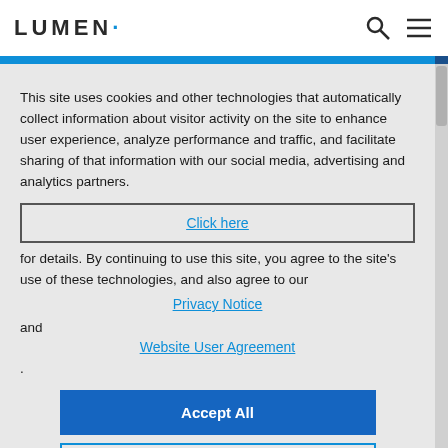LUMEN
This site uses cookies and other technologies that automatically collect information about visitor activity on the site to enhance user experience, analyze performance and traffic, and facilitate sharing of that information with our social media, advertising and analytics partners. Click here for details. By continuing to use this site, you agree to the site's use of these technologies, and also agree to our Privacy Notice and Website User Agreement .
Accept All
Cookie Settings